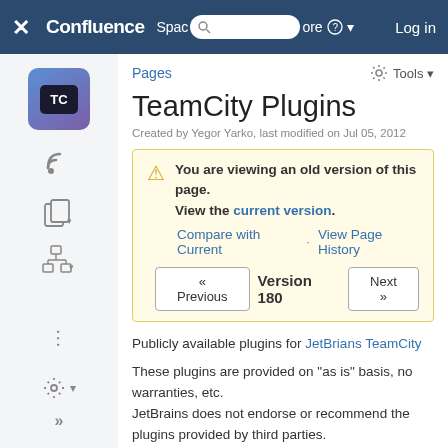Confluence — Spaces | More | Log in
Pages
Tools ▼
TeamCity Plugins
Created by Yegor Yarko, last modified on Jul 05, 2012
You are viewing an old version of this page. View the current version. Compare with Current · View Page History
« Previous   Version 180   Next »
Publicly available plugins for JetBrians TeamCity
These plugins are provided on "as is" basis, no warranties, etc.
JetBrains does not endorse or recommend the plugins provided by third parties.
Mentioned third-party plugins functionality, bugs possible